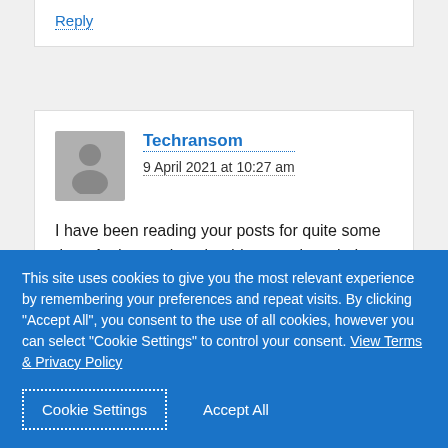RSS feed to ensure that I don't miss out on your posts.
Reply
Techransom
9 April 2021 at 10:27 am
I have been reading your posts for quite some time. And everytime, it adds to my knowledge. But could you please elaborate on the last section in your upcoming
This site uses cookies to give you the most relevant experience by remembering your preferences and repeat visits. By clicking "Accept All", you consent to the use of all cookies, however you can select "Cookie Settings" to control your consent. View Terms & Privacy Policy
Cookie Settings
Accept All